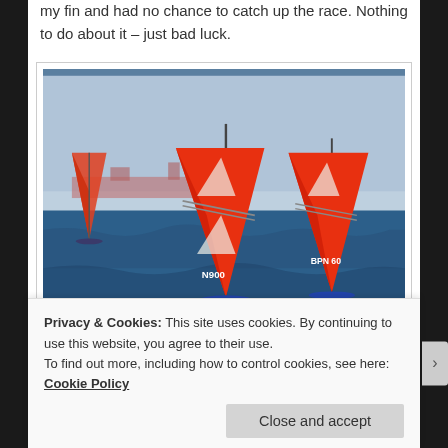my fin and had no chance to catch up the race. Nothing to do about it – just bad luck.
[Figure (photo): Windsurfers racing on open blue sea with red/orange sails, a large cargo ship visible in the background haze.]
Privacy & Cookies: This site uses cookies. By continuing to use this website, you agree to their use.
To find out more, including how to control cookies, see here: Cookie Policy